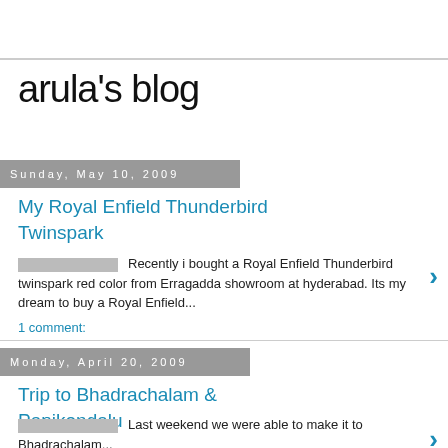arula's blog
Sunday, May 10, 2009
My Royal Enfield Thunderbird Twinspark
Recently i bought a Royal Enfield Thunderbird twinspark red color from Erragadda showroom at hyderabad. Its my dream to buy a Royal Enfield...
1 comment:
Monday, April 20, 2009
Trip to Bhadrachalam & Papikondalu
Last weekend we were able to make it to Bhadrachalam...